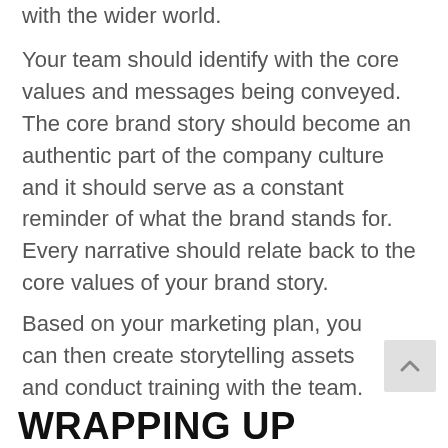with the wider world.
Your team should identify with the core values and messages being conveyed. The core brand story should become an authentic part of the company culture and it should serve as a constant reminder of what the brand stands for. Every narrative should relate back to the core values of your brand story.
Based on your marketing plan, you can then create storytelling assets and conduct training with the team.
WRAPPING UP